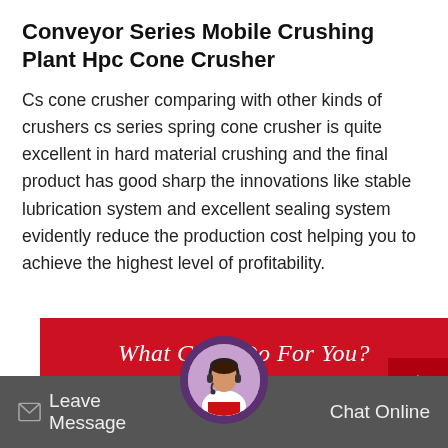Conveyor Series Mobile Crushing Plant Hpc Cone Crusher
Cs cone crusher comparing with other kinds of crushers cs series spring cone crusher is quite excellent in hard material crushing and the final product has good sharp the innovations like stable lubrication system and excellent sealing system evidently reduce the production cost helping you to achieve the highest level of profitability.
[Figure (infographic): Red banner with white italic text reading 'What Can I Do For You?' with a dark red up-arrow button on the right side and a gray strip below.]
[Figure (infographic): Dark gray chat bar at the bottom with 'Leave Message' on the left with an icon, a circular avatar of a woman with a headset in the center, and 'Chat Online' on the right.]